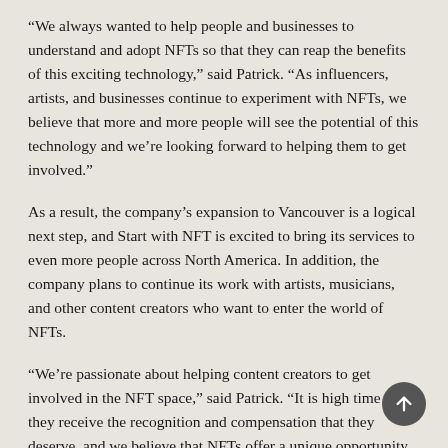“We always wanted to help people and businesses to understand and adopt NFTs so that they can reap the benefits of this exciting technology,” said Patrick. “As influencers, artists, and businesses continue to experiment with NFTs, we believe that more and more people will see the potential of this technology and we’re looking forward to helping them to get involved.”
As a result, the company’s expansion to Vancouver is a logical next step, and Start with NFT is excited to bring its services to even more people across North America. In addition, the company plans to continue its work with artists, musicians, and other content creators who want to enter the world of NFTs.
“We’re passionate about helping content creators to get involved in the NFT space,” said Patrick. “It is high time that they receive the recognition and compensation that they deserve, and we believe that NFTs offer a unique opportunity for them to do just that.”
Patrick Bazalaki founded Start with NFT after working in the